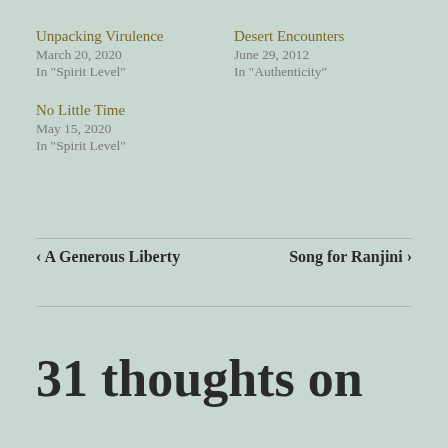Unpacking Virulence
March 20, 2020
In “Spirit Level”
Desert Encounters
June 29, 2012
In “Authenticity”
No Little Time
May 15, 2020
In “Spirit Level”
‹ A Generous Liberty
Song for Ranjini ›
31 thoughts on